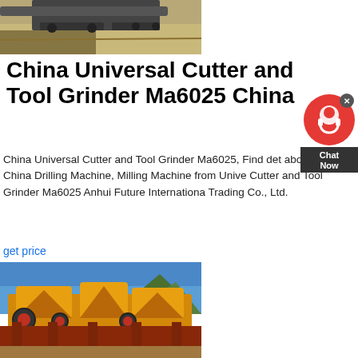[Figure (photo): Top photo showing construction/drilling machine on sandy ground]
China Universal Cutter and Tool Grinder Ma6025 China
China Universal Cutter and Tool Grinder Ma6025, Find details about China Drilling Machine, Milling Machine from Universal Cutter and Tool Grinder Ma6025 Anhui Future International Trading Co., Ltd.
get price
[Figure (photo): Photo of large yellow industrial crushing/grinding machinery on red metal frame structure with blue sky and green hills in background]
[Figure (infographic): Chat Now widget with red circle icon, X close button, and dark Chat Now label]